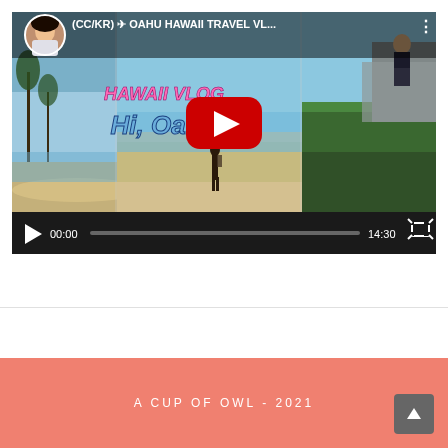[Figure (screenshot): YouTube video embed showing a Hawaii travel vlog titled '(CC/KR) ✈ OAHU HAWAII TRAVEL VL...' with thumbnail of Hawaii beach scenes and 'HAWAII VLOG Hi, Oahu' text overlay. Video duration shows 14:30 with playback controls at bottom.]
A CUP OF OWL - 2021